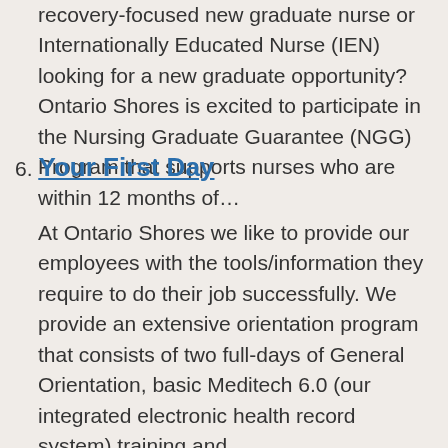recovery-focused new graduate nurse or Internationally Educated Nurse (IEN) looking for a new graduate opportunity? Ontario Shores is excited to participate in the Nursing Graduate Guarantee (NGG) Program that supports nurses who are within 12 months of…
6. Your First Day
At Ontario Shores we like to provide our employees with the tools/information they require to do their job successfully. We provide an extensive orientation program that consists of two full-days of General Orientation, basic Meditech 6.0 (our integrated electronic health record system) training and…